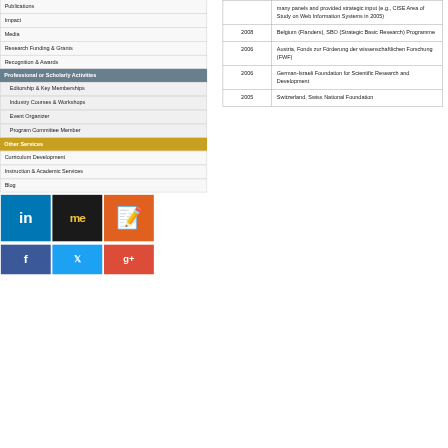Publications
Impact
Media
Research Funding & Grants
Recognition & Awards
Professional or Scholarly Activities
Editorship & Key Memberships
Industry Courses & Workshops
Event Organizer
Program Committee Member
Other Services
Curriculum Development
Instruction & Academic Services
Blog
| Year | Description |
| --- | --- |
|  | many panels and provided strategic input (e.g., CISE Area of Study on Web Information Systems in 2005) |
| 2008 | Belgium (Flanders), SBO (Strategic Basic Research) Programme |
| 2006 | Austria, Fonds zur Förderung der wissenschaftlichen Forschung (FWF) |
| 2006 | German-Israeli Foundation for Scientific Research and Development |
| 2005 | Switzerland, Swiss National Foundation |